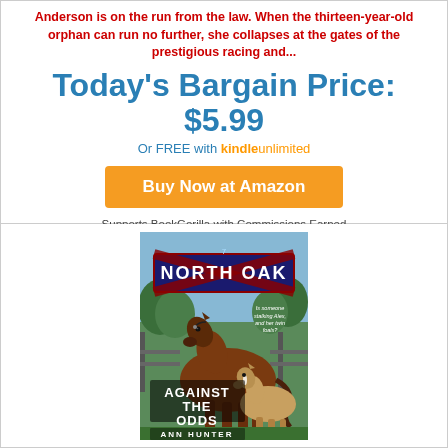Anderson is on the run from the law. When the thirteen-year-old orphan can run no further, she collapses at the gates of the prestigious racing and...
Today's Bargain Price: $5.99
Or FREE with Kindle Unlimited
Buy Now at Amazon
Supports BookGorilla with Commissions Earned
Categories: All Children's Lit; All Teen Lit
[Figure (illustration): Book cover for 'Against the Odds' by Ann Hunter, part of the North Oak series. Shows a brown horse and foal in front of a fence with trees in the background. Text on cover reads 'North Oak', 'Is someone stalking Alex and her twin foals?', 'Against the Odds', 'Ann Hunter'.]